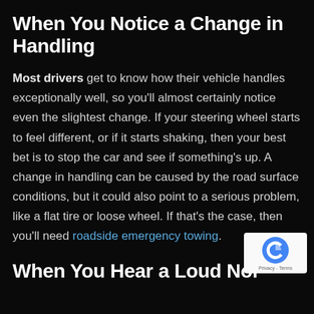When You Notice a Change in Handling
Most drivers get to know how their vehicle handles exceptionally well, so you'll almost certainly notice even the slightest change. If your steering wheel starts to feel different, or if it starts shaking, then your best bet is to stop the car and see if something's up. A change in handling can be caused by the road surface conditions, but it could also point to a serious problem, like a flat tire or loose wheel. If that's the case, then you'll need roadside emergency towing.
[Figure (logo): reCAPTCHA badge with circular arrow logo and Privacy - Terms text]
When You Hear a Loud Noi…